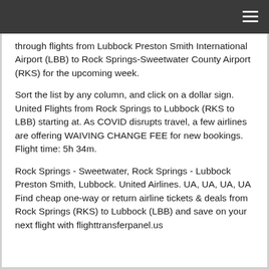through flights from Lubbock Preston Smith International Airport (LBB) to Rock Springs-Sweetwater County Airport (RKS) for the upcoming week.
Sort the list by any column, and click on a dollar sign. United Flights from Rock Springs to Lubbock (RKS to LBB) starting at. As COVID disrupts travel, a few airlines are offering WAIVING CHANGE FEE for new bookings. Flight time: 5h 34m.
Rock Springs - Sweetwater, Rock Springs - Lubbock Preston Smith, Lubbock. United Airlines. UA, UA, UA, UA Find cheap one-way or return airline tickets & deals from Rock Springs (RKS) to Lubbock (LBB) and save on your next flight with flighttransferpanel.us